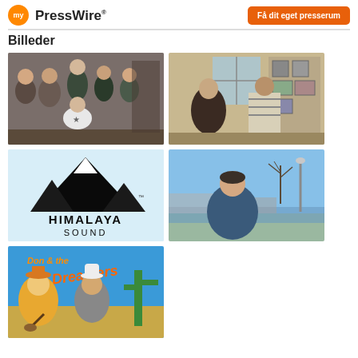my PressWire® | Få dit eget presserum
Billeder
[Figure (photo): Group photo of five people in a recording studio or indoor setting]
[Figure (photo): Two people standing indoors, one appears to be speaking or presenting]
[Figure (logo): Himalaya Sound logo with mountain silhouette and text HIMALAYA SOUND]
[Figure (photo): Person standing outdoors near waterfront on a sunny day]
[Figure (illustration): Don & the Dreamers cartoon/illustrated band logo with colorful characters]